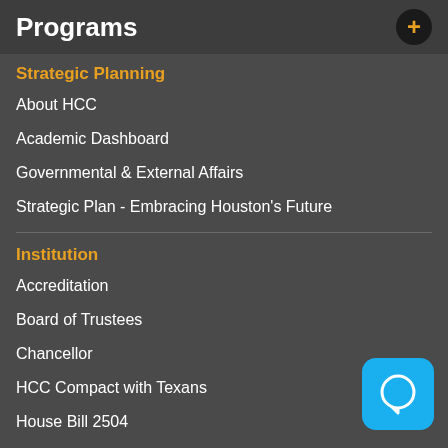Programs
Strategic Planning
About HCC
Academic Dashboard
Governmental & External Affairs
Strategic Plan - Embracing Houston's Future
Institution
Accreditation
Board of Trustees
Chancellor
HCC Compact with Texans
House Bill 2504
Senate Bill 18
In Memoriam
Police Department
Policies & Procedures
Privacy Policy
[Figure (illustration): Blue chat bubble icon button in bottom right corner]